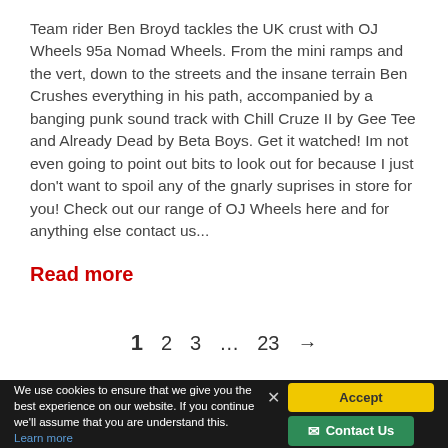Team rider Ben Broyd tackles the UK crust with OJ Wheels 95a Nomad Wheels. From the mini ramps and the vert, down to the streets and the insane terrain Ben Crushes everything in his path, accompanied by a banging punk sound track with Chill Cruze II by Gee Tee and Already Dead by Beta Boys. Get it watched! Im not even going to point out bits to look out for because I just don't want to spoil any of the gnarly suprises in store for you! Check out our range of OJ Wheels here and for anything else contact us...
Read more
1  2  3  …  23  →
We use cookies to ensure that we give you the best experience on our website. If you continue we'll assume that you are understand this. Learn more